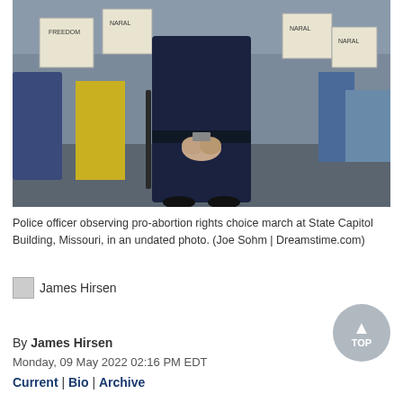[Figure (photo): Police officer standing with hands clasped behind back, observing a pro-abortion rights march at State Capitol Building, Missouri. Protesters holding signs including 'NARAL' and 'Freedom' visible in background.]
Police officer observing pro-abortion rights choice march at State Capitol Building, Missouri, in an undated photo. (Joe Sohm | Dreamstime.com)
[Figure (photo): Small author headshot image placeholder for James Hirsen]
James Hirsen
By James Hirsen
Monday, 09 May 2022 02:16 PM EDT
Current | Bio | Archive